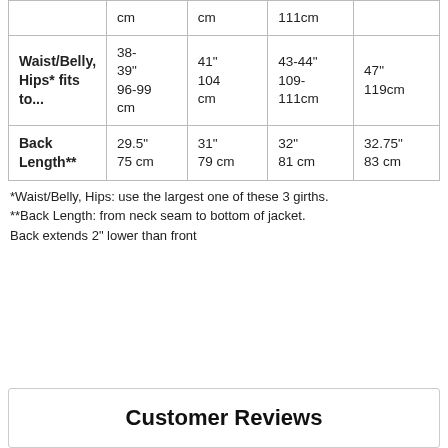|  | Col1 | Col2 | Col3 | Col4 |
| --- | --- | --- | --- | --- |
|  | cm | cm | 111cm |  |
| Waist/Belly, Hips* fits to... | 38-39"
96-99 cm | 41"
104 cm | 43-44"
109-111cm | 47"
119cm |
| Back Length** | 29.5"
75 cm | 31"
79 cm | 32"
81 cm | 32.75"
83 cm |
*Waist/Belly, Hips: use the largest one of these 3 girths.
**Back Length: from neck seam to bottom of jacket. Back extends 2" lower than front
Customer Reviews